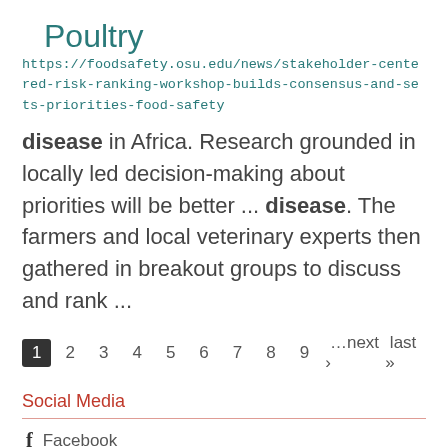Poultry
https://foodsafety.osu.edu/news/stakeholder-centered-risk-ranking-workshop-builds-consensus-and-sets-priorities-food-safety
disease in Africa. Research grounded in locally led decision-making about priorities will be better ... disease. The farmers and local veterinary experts then gathered in breakout groups to discuss and rank ...
1 2 3 4 5 6 7 8 9 …next › last »
Social Media
Facebook